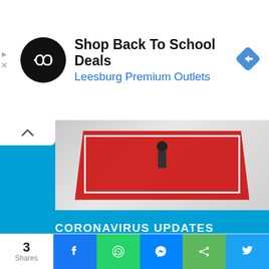[Figure (screenshot): Advertisement banner: black circle logo with infinity/arrow symbol, text 'Shop Back To School Deals' and 'Leesburg Premium Outlets' in blue, blue diamond navigation icon on right]
[Figure (photo): Coronavirus Updates news card with cyan/blue background showing a person on a red mat from above, with bold white text 'CORONAVIRUS UPDATES' banner]
Japan to ease Covid entry requirements, raise cap on entrants
[Figure (photo): Street market scene showing a currency exchange board with $ USD 16723 17098 and EUR 18984 19295, a man on phone in dark jacket, and hats/merchandise on right side]
3 Shares